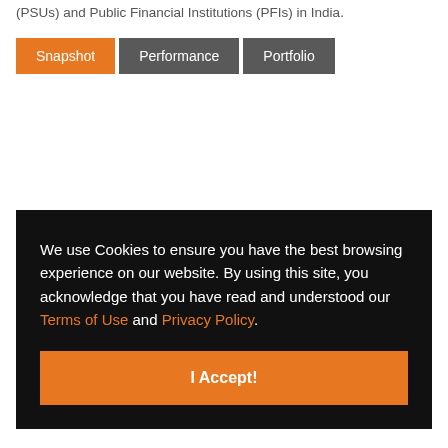(PSUs) and Public Financial Institutions (PFIs) in India.
Snapshot | Performance | Portfolio
We use Cookies to ensure you have the best browsing experience on our website. By using this site, you acknowledge that you have read and understood our Terms of Use and Privacy Policy.
I Accept!